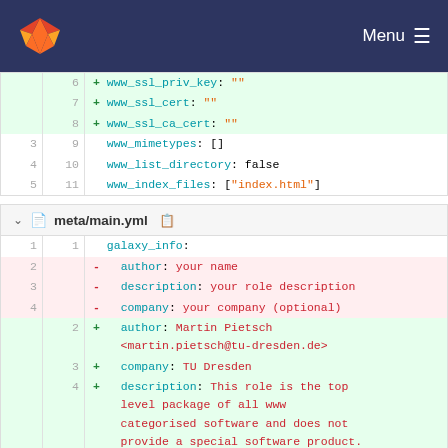GitLab navigation with logo and Menu
[Figure (screenshot): GitLab diff view showing two file diffs: first a partial diff with lines 6-11, then meta/main.yml diff with galaxy_info block changes]
6 + www_ssl_priv_key: ""
7 + www_ssl_cert: ""
8 + www_ssl_ca_cert: ""
3 9   www_mimetypes: []
4 10   www_list_directory: false
5 11   www_index_files: ["index.html"]
meta/main.yml
1 1   galaxy_info:
2   - author: your name
3   - description: your role description
4   - company: your company (optional)
  2 + author: Martin Pietsch <martin.pietsch@tu-dresden.de>
  3 + company: TU Dresden
  4 + description: This role is the top level package of all www categorised software and does not provide a special software product.